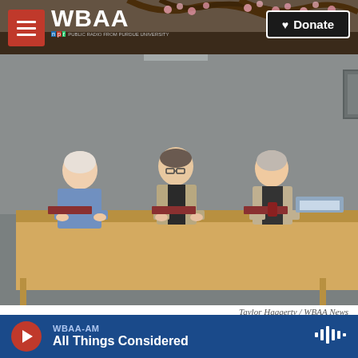WBAA | Donate
[Figure (photo): A woman with curly hair wearing a dark blue top and floral skirt stands at a podium addressing three men seated at a panel table in what appears to be a government meeting room.]
Taylor Haggerty / WBAA News
Commercial wind energy technology is no longer allowed within Tippecanoe County. County...
WBAA-AM All Things Considered